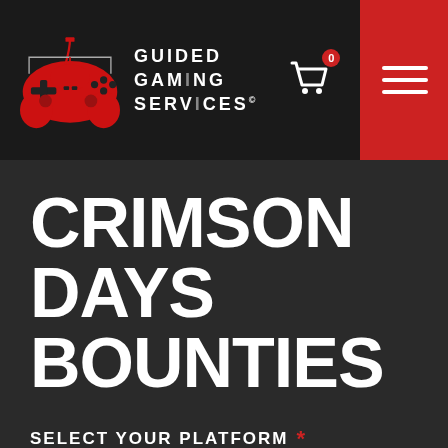[Figure (logo): Guided Gaming Services logo with red gamepad controller and white text reading GUIDED GAMING SERVICES]
CRIMSON DAYS BOUNTIES
SELECT YOUR PLATFORM *
[Figure (illustration): Three platform selection boxes showing Windows, PlayStation, and Xbox icons on dark grey backgrounds]